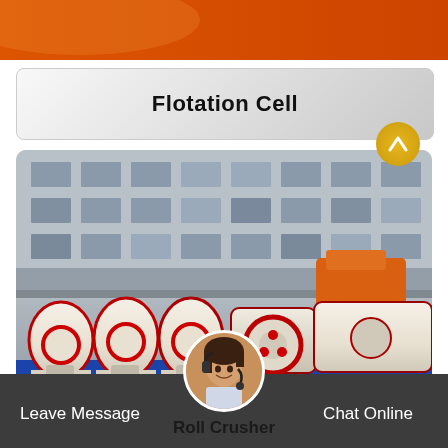[Figure (photo): Top partial view of orange industrial machinery against white background]
Flotation Cell
[Figure (photo): Roll crusher machines lined up in a row on blue base platforms in an industrial yard, with a multi-story building in the background and an orange vehicle visible]
Roll Crusher
Leave Message
Chat Online